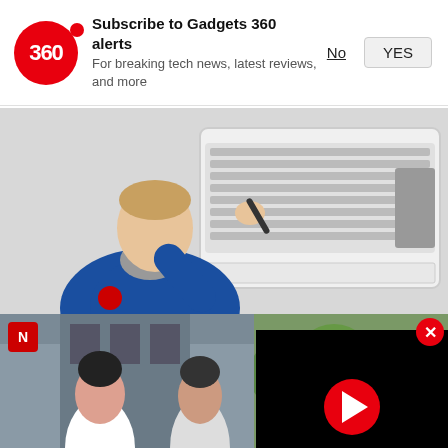[Figure (screenshot): Gadgets 360 subscription notification banner with red circular logo showing '360', title 'Subscribe to Gadgets 360 alerts', subtitle 'For breaking tech news, latest reviews, and more', and buttons 'No' and 'YES']
[Figure (photo): Technician in blue uniform servicing a ductless mini-split air conditioning unit mounted on a wall]
Seniors Are Snapping Up Ductless A... Price Drop)
Air Conditioning | Sponsored
[Figure (screenshot): Black video player with red circular play button]
[Figure (photo): Two paparazzi-style photos of women celebrities at the bottom of the page]